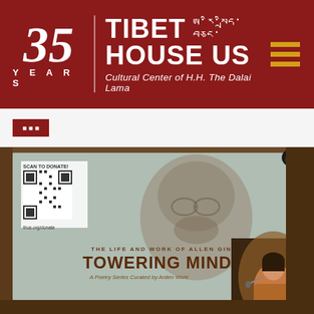[Figure (logo): Tibet House US logo with '35 YEARS' on left, Tibetan script and 'TIBET HOUSE US / Cultural Center of H.H. The Dalai Lama' text, dark red background, gold hamburger menu icon on right]
[Figure (photo): Event photo showing a large projected screen with 'TOWERING MIND - The Life and Work of Allen Ginsberg, A Poetry Series Curated by Arden Wohl' displayed. The screen shows a halftone portrait of a bearded man with glasses. A QR code with 'SCAN TO DONATE!' and 'thus.org/donate' is visible on the screen. A woman in a floral dress stands at a microphone in the foreground right.]